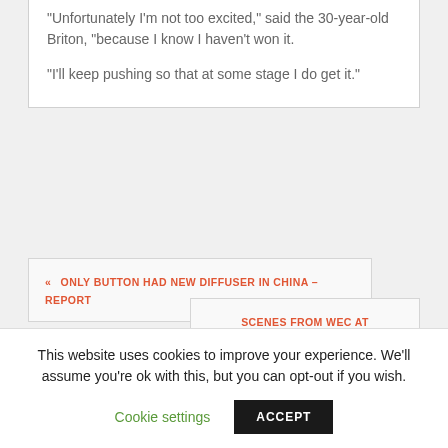"Unfortunately I'm not too excited," said the 30-year-old Briton, "because I know I haven't won it.

"I'll keep pushing so that at some stage I do get it."
« ONLY BUTTON HAD NEW DIFFUSER IN CHINA – REPORT
SCENES FROM WEC AT SILVERSTONE »
Leave a Reply
You must be logged in to post a
This website uses cookies to improve your experience. We'll assume you're ok with this, but you can opt-out if you wish.
Cookie settings    ACCEPT